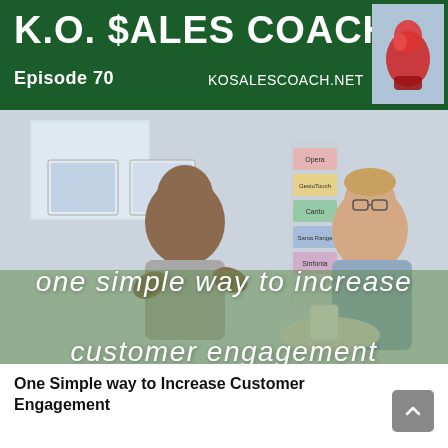K.O. $ALES COACH
Episode 70   KOSALESCOACH.NET
[Figure (photo): Two men having a conversation in an office/lobby setting, one gesturing with hands, a magazine rack visible in the background. Overlaid with semi-transparent green tint and large italic white text.]
one simple way to increase
customer engagement
One Simple way to Increase Customer Engagement